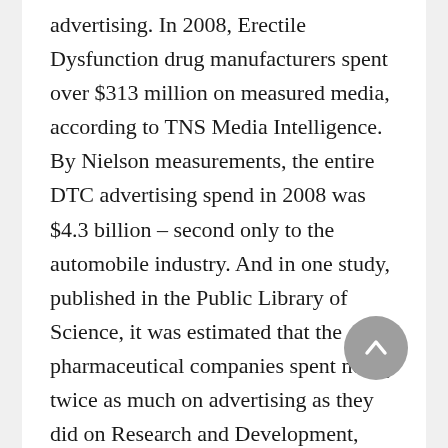advertising.  In 2008, Erectile Dysfunction drug manufacturers spent over $313 million on measured media, according to TNS Media Intelligence.  By Nielson measurements, the entire DTC advertising spend in 2008 was $4.3 billion – second only to the automobile industry.  And in one study, published in the Public Library of Science, it was estimated that the pharmaceutical companies spent nearly twice as much on advertising as they did on Research and Development, which probably makes it hard for sick people to get into the spirit of the latest Viva Viagra commercial.
That means we will be seeing these ads for the foreseeable future, and that has many viewers –